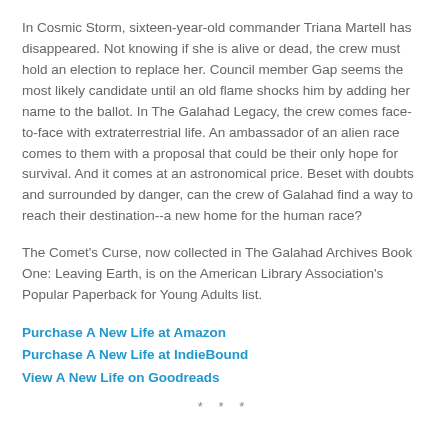In Cosmic Storm, sixteen-year-old commander Triana Martell has disappeared. Not knowing if she is alive or dead, the crew must hold an election to replace her. Council member Gap seems the most likely candidate until an old flame shocks him by adding her name to the ballot. In The Galahad Legacy, the crew comes face-to-face with extraterrestrial life. An ambassador of an alien race comes to them with a proposal that could be their only hope for survival. And it comes at an astronomical price. Beset with doubts and surrounded by danger, can the crew of Galahad find a way to reach their destination--a new home for the human race?
The Comet's Curse, now collected in The Galahad Archives Book One: Leaving Earth, is on the American Library Association's Popular Paperback for Young Adults list.
Purchase A New Life at Amazon
Purchase A New Life at IndieBound
View A New Life on Goodreads
* * *